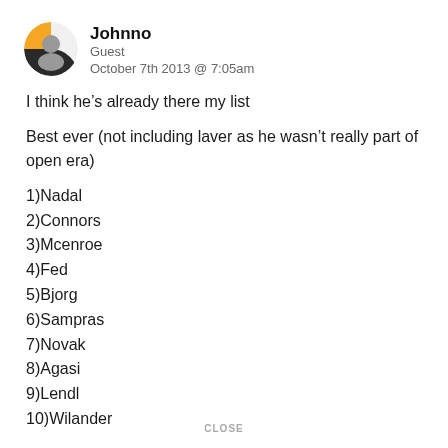Johnno
Guest
October 7th 2013 @ 7:05am
I think he’s already there my list
Best ever (not including laver as he wasn’t really part of open era)
1)Nadal
2)Connors
3)Mcenroe
4)Fed
5)Bjorg
6)Sampras
7)Novak
8)Agasi
9)Lendl
10)Wilander
I don’t know what his davis cup record is like if he’s lead